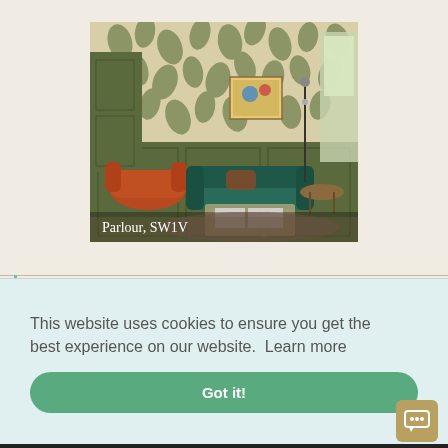[Figure (photo): Interior room photo showing a stylish parlour with bold tropical leaf wallpaper in cream and green, dark olive-green panelled walls, an orange armchair on the left, a teal/green velvet curved sofa in center, a brass-framed glass coffee table, and a round side table with a plant. Text overlay reads 'Parlour, SW1V'.]
Parlour, SW1V
This website uses cookies to ensure you get the best experience on our website.  Learn more
Got it!